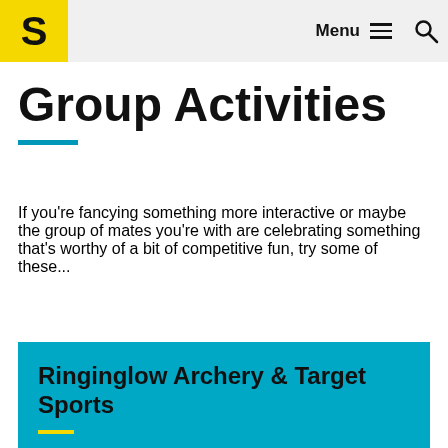S  Menu  🔍
Group Activities
If you're fancying something more interactive or maybe the group of mates you're with are celebrating something that's worthy of a bit of competitive fun, try some of these...
Ringinglow Archery & Target Sports